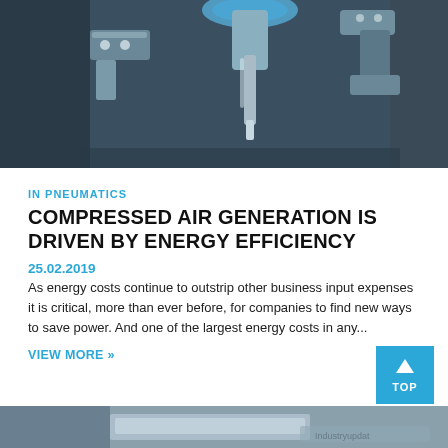[Figure (photo): Close-up photograph of industrial pneumatic or machining equipment — metal parts, drill or tool, steel surfaces]
IN PNEUMATICS
COMPRESSED AIR GENERATION IS DRIVEN BY ENERGY EFFICIENCY
25.02.2019
As energy costs continue to outstrip other business input expenses it is critical, more than ever before, for companies to find new ways to save power. And one of the largest energy costs in any...
VIEW MORE »
[Figure (photo): Bottom partial photo of industrial/engineering equipment or product, partially visible at page bottom]